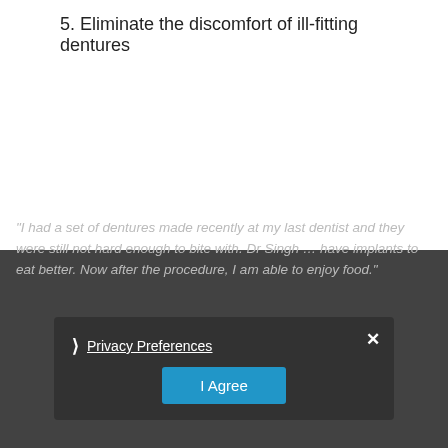5. Eliminate the discomfort of ill-fitting dentures
"I had a set of dentures made recently at my last dentist and they were still not hard enough to bite with. Dr Singh … have implants to eat better. Now after the procedure, I am able to enjoy food."
Privacy Preferences
I Agree